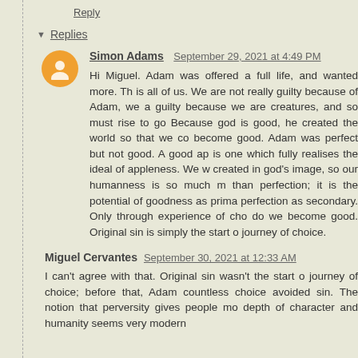Reply
Replies
Simon Adams  September 29, 2021 at 4:49 PM
Hi Miguel. Adam was offered a full life, and wanted more. That is all of us. We are not really guilty because of Adam, we are guilty because we are creatures, and so must rise to god. Because god is good, he created the world so that we could become good. Adam was perfect but not good. A good apple is one which fully realises the ideal of appleness. We were created in god's image, so our humanness is so much more than perfection; it is the potential of goodness as primary, perfection as secondary. Only through experience of choice do we become good. Original sin is simply the start of journey of choice.
Miguel Cervantes  September 30, 2021 at 12:33 AM
I can't agree with that. Original sin wasn't the start of journey of choice; before that, Adam countless choices avoided sin. The notion that perversity gives people more depth of character and humanity seems very modern...